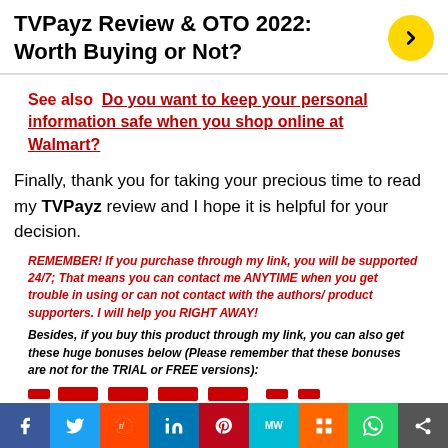TVPayz Review & OTO 2022: Worth Buying or Not?
See also  Do you want to keep your personal information safe when you shop online at Walmart?
Finally, thank you for taking your precious time to read my TVPayz review and I hope it is helpful for your decision.
REMEMBER! If you purchase through my link, you will be supported 24/7; That means you can contact me ANYTIME when you get trouble in using or can not contact with the authors/ product supporters. I will help you RIGHT AWAY!
Besides, if you buy this product through my link, you can also get these huge bonuses below (Please remember that these bonuses are not for the TRIAL or FREE versions):
Social share bar: Facebook, Twitter, Reddit, LinkedIn, Pinterest, MixedWeekly, Mix, WhatsApp, Share